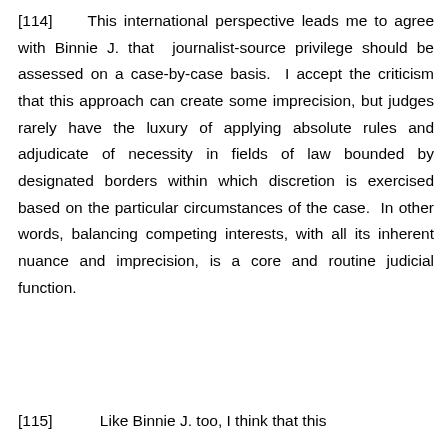[114]    This international perspective leads me to agree with Binnie J. that  journalist-source privilege should be assessed on a case-by-case basis.  I accept the criticism that this approach can create some imprecision, but judges rarely have the luxury of applying absolute rules and adjudicate of necessity in fields of law bounded by designated borders within which discretion is exercised based on the particular circumstances of the case.  In other words, balancing competing interests, with all its inherent nuance and imprecision, is a core and routine judicial function.
[115]          Like Binnie J. too, I think that this